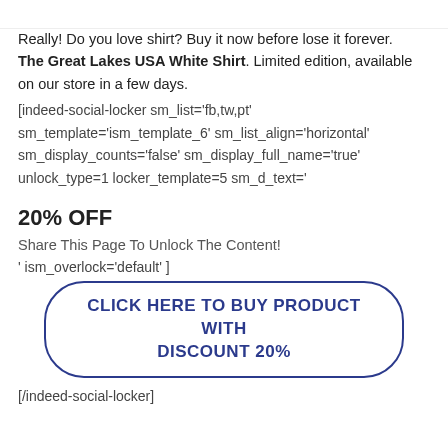Really! Do you love shirt? Buy it now before lose it forever. The Great Lakes USA White Shirt. Limited edition, available on our store in a few days.
[indeed-social-locker sm_list='fb,tw,pt' sm_template='ism_template_6' sm_list_align='horizontal' sm_display_counts='false' sm_display_full_name='true' unlock_type=1 locker_template=5 sm_d_text='
20% OFF
Share This Page To Unlock The Content!
' ism_overlock='default' ]
CLICK HERE TO BUY PRODUCT WITH DISCOUNT 20%
[/indeed-social-locker]